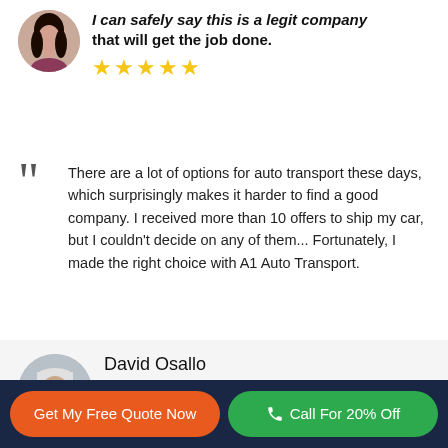I can safely say this is a legit company that will get the job done.
[Figure (photo): Round avatar photo of a woman with long dark hair]
★★★★★
There are a lot of options for auto transport these days, which surprisingly makes it harder to find a good company. I received more than 10 offers to ship my car, but I couldn't decide on any of them... Fortunately, I made the right choice with A1 Auto Transport.
David Osallo
[Figure (photo): Round avatar photo of a man with a cap and beard]
We give A1 Auto Transport a big 10 out of 10!
★★★★★
Get My Free Quote Now
Call For 20% Off